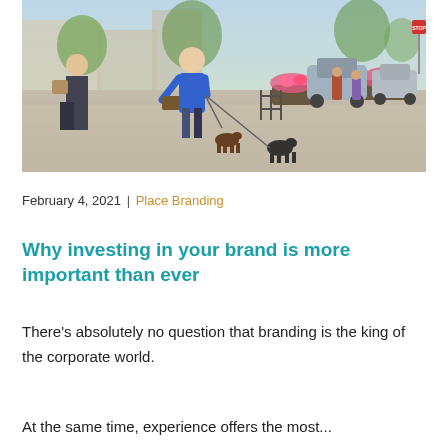[Figure (photo): Outdoor pedestrian street scene on a sunny day. Two women walking dogs in foreground, one wearing a blue top. Flower planters, parked cars, and storefronts visible in background.]
February 4, 2021 | Place Branding
Why investing in your brand is more important than ever
There’s absolutely no question that branding is the king of the corporate world.
At the same time, experience offers the most...